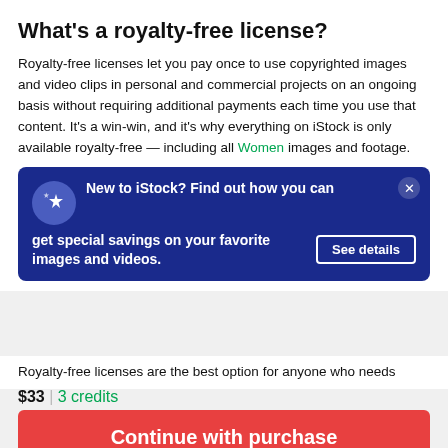What's a royalty-free license?
Royalty-free licenses let you pay once to use copyrighted images and video clips in personal and commercial projects on an ongoing basis without requiring additional payments each time you use that content. It's a win-win, and it's why everything on iStock is only available royalty-free — including all Women images and footage.
[Figure (infographic): Dark blue promotional banner with star icon, text 'New to iStock? Find out how you can get special savings on your favorite images and videos.' and a 'See details' button. A close (x) button appears in the top right corner.]
Royalty-free licenses are the best option for anyone who needs
$33 | 3 credits
Continue with purchase